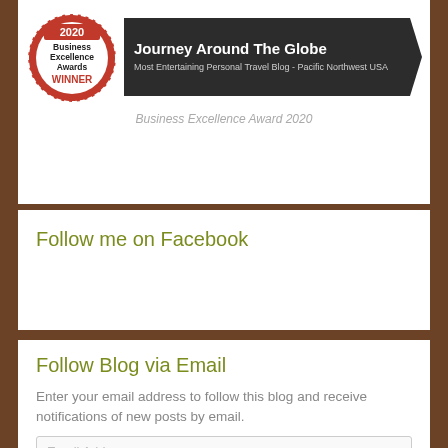[Figure (logo): 2020 Business Excellence Awards WINNER badge (red circular seal) alongside a dark banner reading 'Journey Around The Globe – Most Entertaining Personal Travel Blog - Pacific Northwest USA']
Business Excellence Award 2020
Follow me on Facebook
Follow Blog via Email
Enter your email address to follow this blog and receive notifications of new posts by email.
Email Address